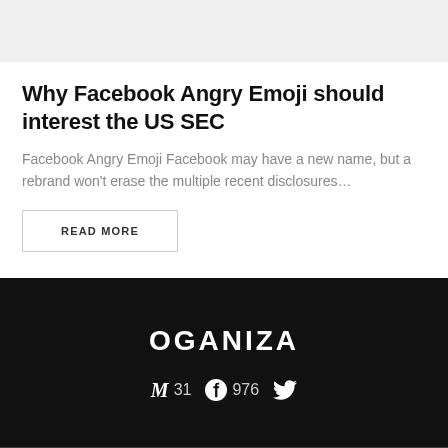Why Facebook Angry Emoji should interest the US SEC
Facebook Angry Emoji Facebook may have a new name, but a rebrand won't erase the multiple recent disclosures…
READ MORE
OGANIZA  M 31  976